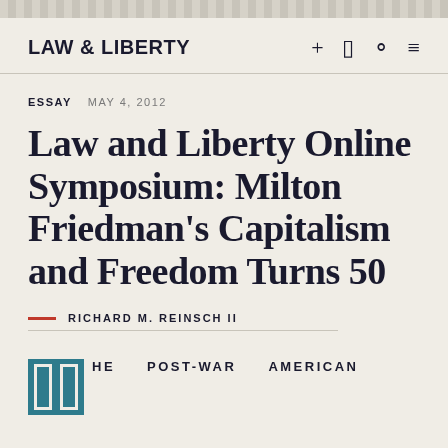LAW & LIBERTY
ESSAY  MAY 4, 2012
Law and Liberty Online Symposium: Milton Friedman's Capitalism and Freedom Turns 50
RICHARD M. REINSCH II
HE  POST-WAR  AMERICAN